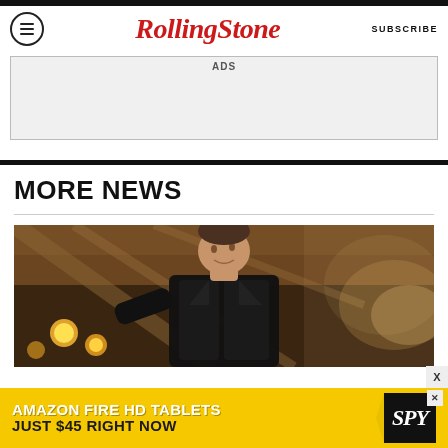Rolling Stone — SUBSCRIBE
[Figure (other): Advertisement placeholder box labeled ADS]
MORE NEWS
[Figure (photo): Concert/performance photo of a man in a black leather jacket, with stage lighting in the background]
[Figure (other): Advertisement banner: AMAZON FIRE HD TABLETS JUST $45 RIGHT NOW — SPY logo with close button X]